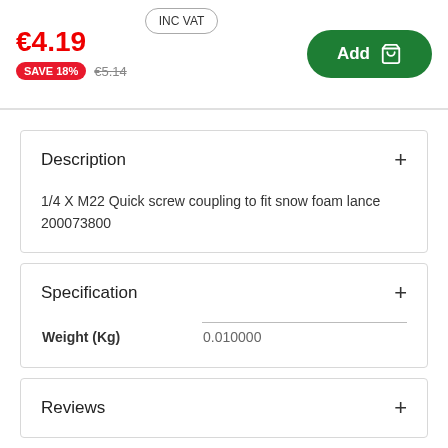€4.19
INC VAT
SAVE 18%
€5.14
Add
Description
1/4 X M22 Quick screw coupling to fit snow foam lance 200073800
Specification
|  |  |
| --- | --- |
| Weight (Kg) | 0.010000 |
Reviews